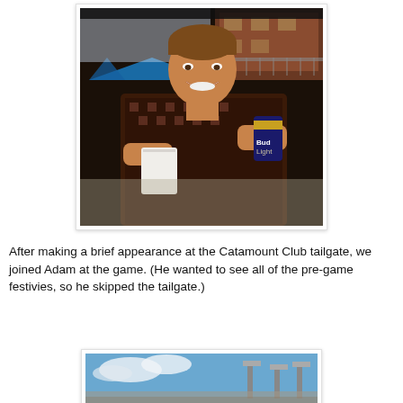[Figure (photo): A man smiling, holding a white cup in one hand and a Bud Light can in the other, wearing a checkered shirt. Background shows a blue tent and brick building at a tailgate.]
After making a brief appearance at the Catamount Club tailgate, we joined Adam at the game. (He wanted to see all of the pre-game festivies, so he skipped the tailgate.)
[Figure (photo): Partial view of a stadium with sky and lights visible.]